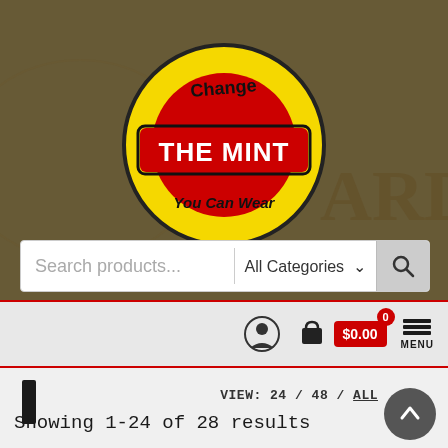[Figure (screenshot): The Mint logo on a decorative currency/engraving background. Logo shows a yellow circle with 'Change' at top, red banner with white text 'THE MINT', and 'You Can Wear' at bottom.]
[Figure (screenshot): Search bar with placeholder text 'Search products...', category dropdown 'All Categories', and search button with magnifying glass icon.]
[Figure (screenshot): Navigation bar with user icon, cart icon with 0 badge and $0.00 price tag, and hamburger menu labeled MENU.]
VIEW: 24 / 48 / ALL
Showing 1-24 of 28 results